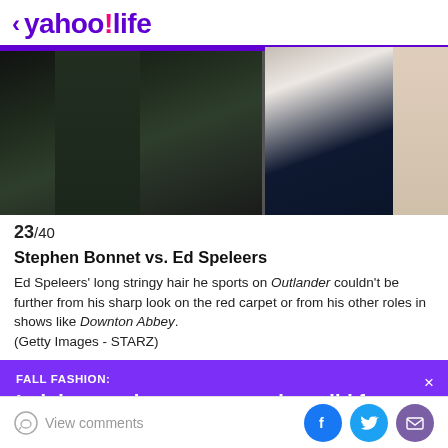< yahoo!life
[Figure (photo): Two-panel photo strip: left side shows dark clothing/jackets in low light (character costume), right side shows a man in a sharp dark navy suit with white shirt on a light background]
23/40
Stephen Bonnet vs. Ed Speleers
Ed Speleers' long stringy hair he sports on Outlander couldn't be further from his sharp look on the red carpet or from his other roles in shows like Downton Abbey.
(Getty Images - STARZ)
[Figure (infographic): Purple promotional banner: FALL FASHION: Lululemon shoppers are going wild for this roomy tote]
View comments | Facebook share | Twitter share | Email share